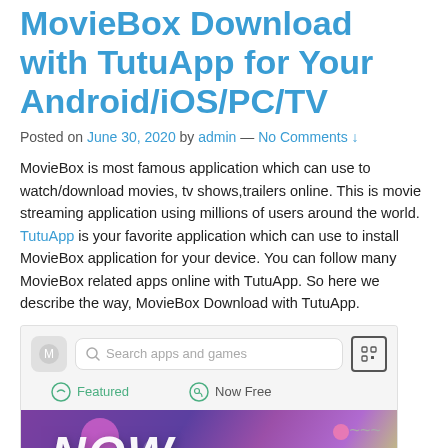MovieBox Download with TutuApp for Your Android/iOS/PC/TV
Posted on June 30, 2020 by admin — No Comments ↓
MovieBox is most famous application which can use to watch/download movies, tv shows,trailers online. This is movie streaming application using millions of users around the world. TutuApp is your favorite application which can use to install MovieBox application for your device. You can follow many MovieBox related apps online with TutuApp. So here we describe the way, MovieBox Download with TutuApp.
[Figure (screenshot): Screenshot of TutuApp store interface showing search bar with 'Search apps and games', Featured and Now Free tabs, and a colorful NOW 1.7.8 banner at the bottom]